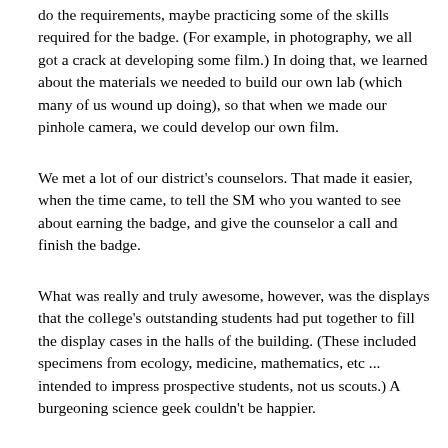do the requirements, maybe practicing some of the skills required for the badge. (For example, in photography, we all got a crack at developing some film.) In doing that, we learned about the materials we needed to build our own lab (which many of us wound up doing), so that when we made our pinhole camera, we could develop our own film.
We met a lot of our district's counselors. That made it easier, when the time came, to tell the SM who you wanted to see about earning the badge, and give the counselor a call and finish the badge.
What was really and truly awesome, however, was the displays that the college's outstanding students had put together to fill the display cases in the halls of the building. (These included specimens from ecology, medicine, mathematics, etc ... intended to impress prospective students, not us scouts.) A burgeoning science geek couldn't be happier.